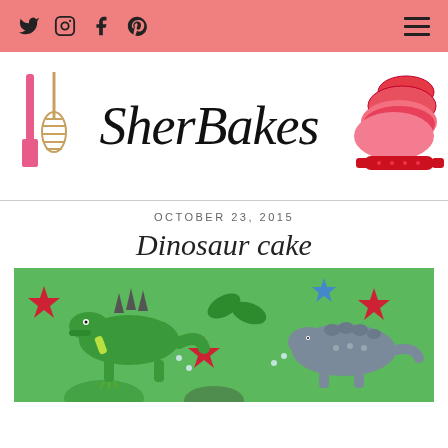Social icons: Twitter, Instagram, Facebook, Pinterest | Hamburger menu
[Figure (logo): SherBakes logo with cursive script text, baking utensils on left, red mixing bowls and rolling pin on right]
OCTOBER 23, 2015
Dinosaur cake
[Figure (photo): A rectangular cake covered in green fondant, decorated with fondant dinosaur figures (spinosaurus and ankylosaurus), red and blue star decorations, green leaf shapes, and small silver pearls on a wooden surface]